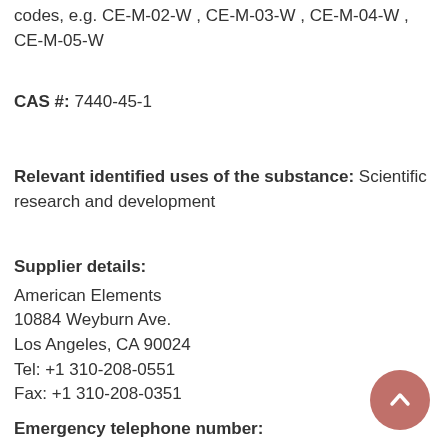codes, e.g. CE-M-02-W , CE-M-03-W , CE-M-04-W , CE-M-05-W
CAS #: 7440-45-1
Relevant identified uses of the substance: Scientific research and development
Supplier details:
American Elements
10884 Weyburn Ave.
Los Angeles, CA 90024
Tel: +1 310-208-0551
Fax: +1 310-208-0351
Emergency telephone number: